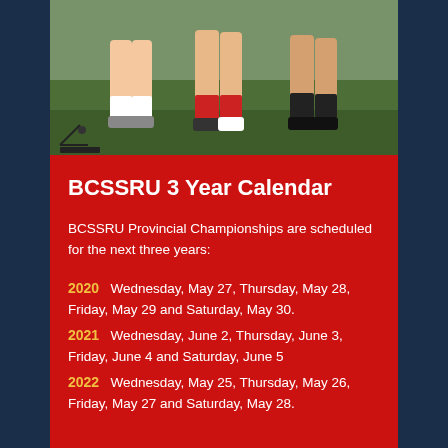[Figure (photo): Cropped photo showing legs and feet of rugby players running on a grass field]
BCSSRU 3 Year Calendar
BCSSRU Provincial Championships are scheduled for the next three years:
2020   Wednesday, May 27, Thursday, May 28, Friday, May 29 and Saturday, May 30.
2021   Wednesday, June 2, Thursday, June 3, Friday, June 4 and Saturday, June 5
2022   Wednesday, May 25, Thursday, May 26, Friday, May 27 and Saturday, May 28.